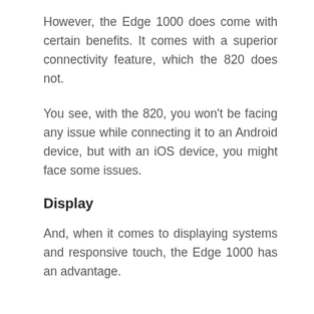However, the Edge 1000 does come with certain benefits. It comes with a superior connectivity feature, which the 820 does not.
You see, with the 820, you won't be facing any issue while connecting it to an Android device, but with an iOS device, you might face some issues.
Display
And, when it comes to displaying systems and responsive touch, the Edge 1000 has an advantage.